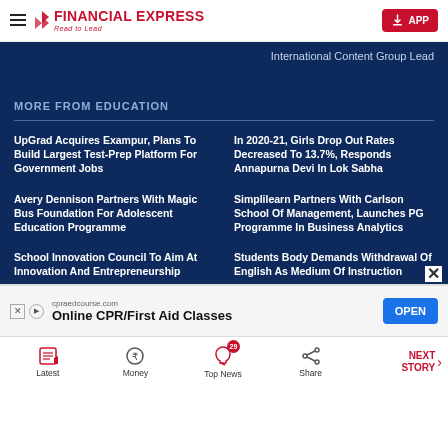FINANCIAL EXPRESS - Read to Lead | APP
International Content Group Lead
MORE FROM EDUCATION
UpGrad Acquires Exampur, Plans To Build Largest Test-Prep Platform For Government Jobs
In 2020-21, Girls Drop Out Rates Decreased To 13.7%, Responds Annapurna Devi In Lok Sabha
Avery Dennison Partners With Magic Bus Foundation For Adolescent Education Programme
Simplilearn Partners With Carlson School Of Management, Launches PG Programme In Business Analytics
School Innovation Council To Aim At Innovation And Entrepreneurship
Students Body Demands Withdrawal Of English As Medium Of Instruction
[Figure (screenshot): Advertisement banner: cpraedcourse.com Online CPR/First Aid Classes with OPEN button]
Latest | Money | Top News (29) | Share | NEXT STORY